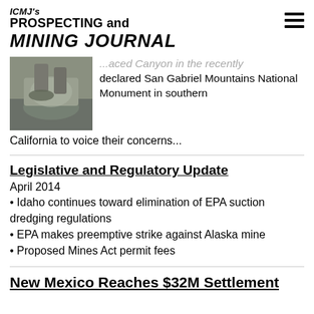ICMJ's PROSPECTING and MINING JOURNAL
[Figure (photo): A person panning for gold or minerals in water, crouched over a pan.]
...aced Canyon in the recently declared San Gabriel Mountains National Monument in southern California to voice their concerns...
Legislative and Regulatory Update
April 2014
Idaho continues toward elimination of EPA suction dredging regulations
EPA makes preemptive strike against Alaska mine
Proposed Mines Act permit fees
New Mexico Reaches $32M Settlement